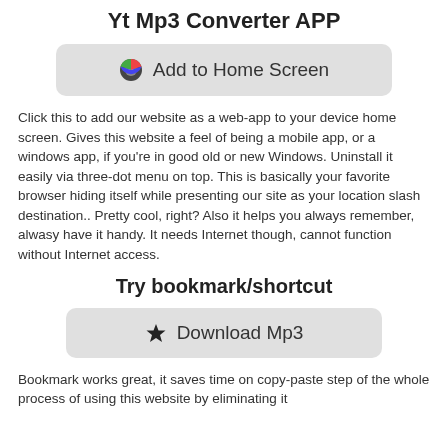Yt Mp3 Converter APP
[Figure (screenshot): Button with Chrome icon and text 'Add to Home Screen' on a light grey rounded rectangle background]
Click this to add our website as a web-app to your device home screen. Gives this website a feel of being a mobile app, or a windows app, if you're in good old or new Windows. Uninstall it easily via three-dot menu on top. This is basically your favorite browser hiding itself while presenting our site as your location slash destination.. Pretty cool, right? Also it helps you always remember, alwasy have it handy. It needs Internet though, cannot function without Internet access.
Try bookmark/shortcut
[Figure (screenshot): Button with star icon and text 'Download Mp3' on a light grey rounded rectangle background]
Bookmark works great, it saves time on copy-paste step of the whole process of using this website by eliminating it